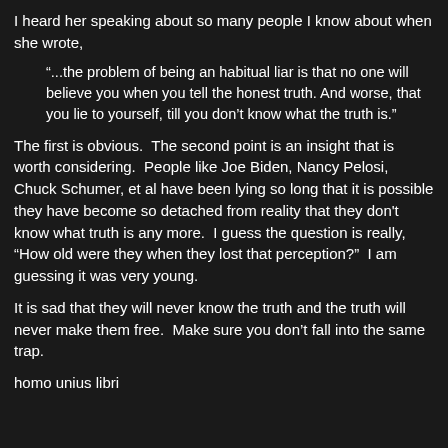I heard her speaking about so many people I know about when she wrote,
“...the problem of being an habitual liar is that no one will believe you when you tell the honest truth. And worse, that you lie to yourself, till you don’t know what the truth is.”
The first is obvious.  The second point is an insight that is worth considering.  People like Joe Biden, Nancy Pelosi, Chuck Schumer, et al have been lying so long that it is possible they have become so detached from reality that they don't know what truth is any more.  I guess the question is really, “How old were they when they lost that perception?”  I am guessing it was very young.
It is sad that they will never know the truth and the truth will never make them free.  Make sure you don’t fall into the same trap.
homo unius libri